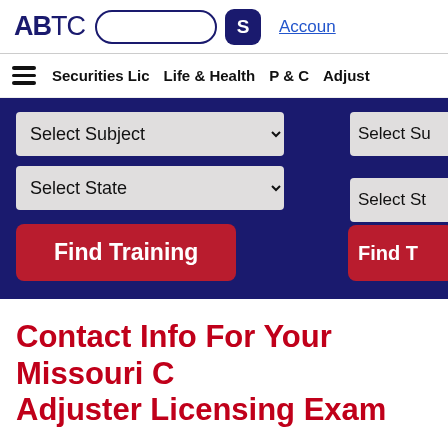ABTC [search box] S Account
≡ Securities Lic  Life & Health  P & C  Adjust
[Figure (screenshot): Dark blue hero section with two dropdown menus (Select Subject, Select State) and a red Find Training button, partially showing a second column with similar controls on the right edge]
Contact Info For Your Missouri C Adjuster Licensing Exam